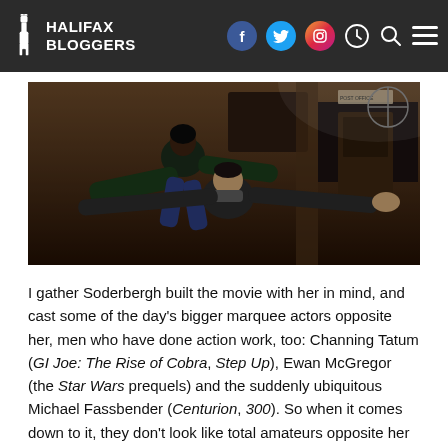HALIFAX BLOGGERS
[Figure (photo): Two people in an action scene inside what appears to be a bar or restaurant; one person is being held/lifted by another in a fighting pose.]
I gather Soderbergh built the movie with her in mind, and cast some of the day's bigger marquee actors opposite her, men who have done action work, too: Channing Tatum (GI Joe: The Rise of Cobra, Step Up), Ewan McGregor (the Star Wars prequels) and the suddenly ubiquitous Michael Fassbender (Centurion, 300). So when it comes down to it, they don't look like total amateurs opposite her trained skills, and she doesn't look like an amateur opposite their experience.